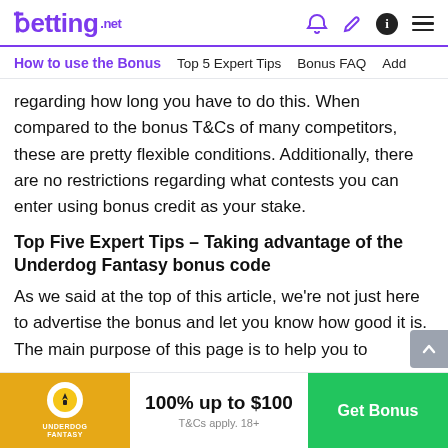betting.net
How to use the Bonus  Top 5 Expert Tips  Bonus FAQ  Add
regarding how long you have to do this. When compared to the bonus T&Cs of many competitors, these are pretty flexible conditions. Additionally, there are no restrictions regarding what contests you can enter using bonus credit as your stake.
Top Five Expert Tips – Taking advantage of the Underdog Fantasy bonus code
As we said at the top of this article, we're not just here to advertise the bonus and let you know how good it is. The main purpose of this page is to help you to
[Figure (infographic): Bottom promotional bar: Underdog Fantasy logo on yellow background, '100% up to $100 / T&Cs apply. 18+' in center, green 'Get Bonus' button on right]